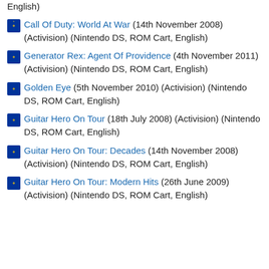English)
Call Of Duty: World At War (14th November 2008) (Activision) (Nintendo DS, ROM Cart, English)
Generator Rex: Agent Of Providence (4th November 2011) (Activision) (Nintendo DS, ROM Cart, English)
Golden Eye (5th November 2010) (Activision) (Nintendo DS, ROM Cart, English)
Guitar Hero On Tour (18th July 2008) (Activision) (Nintendo DS, ROM Cart, English)
Guitar Hero On Tour: Decades (14th November 2008) (Activision) (Nintendo DS, ROM Cart, English)
Guitar Hero On Tour: Modern Hits (26th June 2009) (Activision) (Nintendo DS, ROM Cart, English)